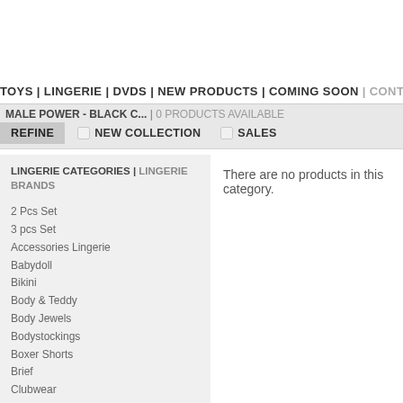TOYS | LINGERIE | DVDS | NEW PRODUCTS | COMING SOON | CONTACT
MALE POWER - BLACK C... | 0 PRODUCTS AVAILABLE
REFINE  NEW COLLECTION  SALES
LINGERIE CATEGORIES | LINGERIE BRANDS
2 Pcs Set
3 pcs Set
Accessories Lingerie
Babydoll
Bikini
Body & Teddy
Body Jewels
Bodystockings
Boxer Shorts
Brief
Clubwear
Corsets
Costumes for Her
Costumes for Him
Cuffs
Dress
Fetishwear for Her
Fetishwear for Him
Funny Underwear for Her
There are no products in this category.